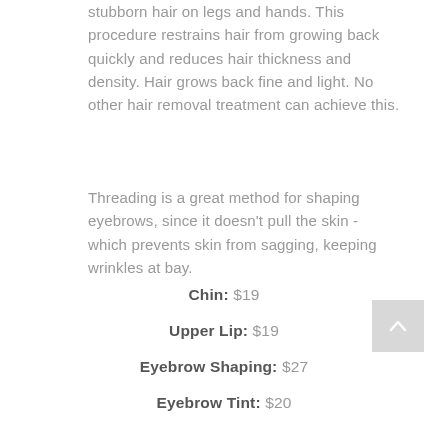stubborn hair on legs and hands. This procedure restrains hair from growing back quickly and reduces hair thickness and density. Hair grows back fine and light. No other hair removal treatment can achieve this.
Threading is a great method for shaping eyebrows, since it doesn't pull the skin - which prevents skin from sagging, keeping wrinkles at bay.
Chin: $19
Upper Lip: $19
Eyebrow Shaping: $27
Eyebrow Tint: $20